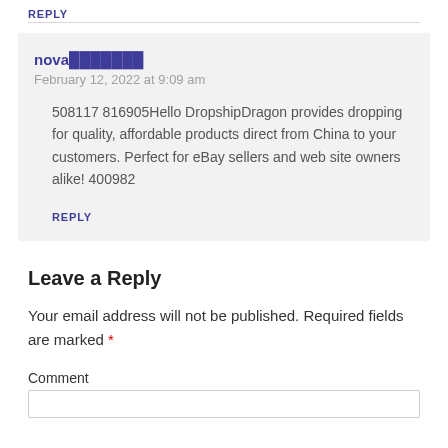REPLY
nova███████
February 12, 2022 at 9:09 am
508117 816905Hello DropshipDragon provides dropping for quality, affordable products direct from China to your customers. Perfect for eBay sellers and web site owners alike! 400982
REPLY
Leave a Reply
Your email address will not be published. Required fields are marked *
Comment